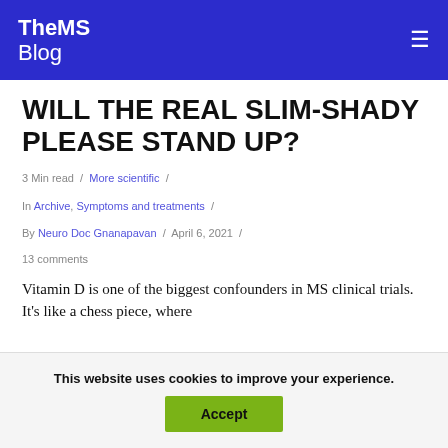TheMS Blog
WILL THE REAL SLIM-SHADY PLEASE STAND UP?
3 Min read  /  More scientific  /  In Archive, Symptoms and treatments  /  By Neuro Doc Gnanapavan  /  April 6, 2021  /  13 comments
Vitamin D is one of the biggest confounders in MS clinical trials. It’s like a chess piece, where
This website uses cookies to improve your experience.